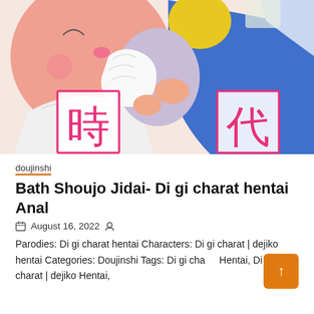[Figure (illustration): Anime-style colorful illustration showing cartoon characters with pink, blue, yellow and white colors. Two pink kanji characters in bordered boxes (時 and 代) overlaid on the image.]
doujinshi
Bath Shoujo Jidai- Di gi charat hentai Anal
August 16, 2022
Parodies: Di gi charat hentai Characters: Di gi charat | dejiko hentai Categories: Doujinshi Tags: Di gi charat Hentai, Di gi charat | dejiko Hentai,